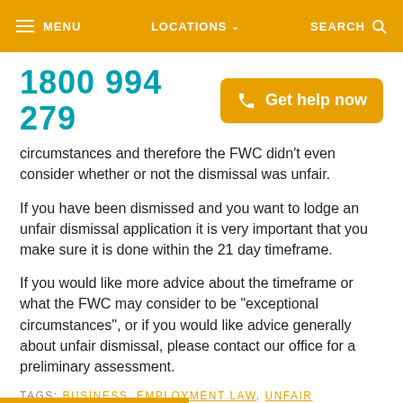MENU  LOCATIONS  SEARCH
1800 994 279
Get help now
circumstances  and therefore the FWC didn't even consider whether or not the dismissal was unfair.
If you have been dismissed and you want to lodge an unfair dismissal application it is very important that you make sure it is done within the 21 day timeframe.
If you would like more advice about the timeframe or what the FWC may consider to be "exceptional circumstances", or if you would like advice generally about unfair dismissal, please contact our office for a preliminary assessment.
TAGS: BUSINESS, EMPLOYMENT LAW, UNFAIR DISMISSAL CLAIM